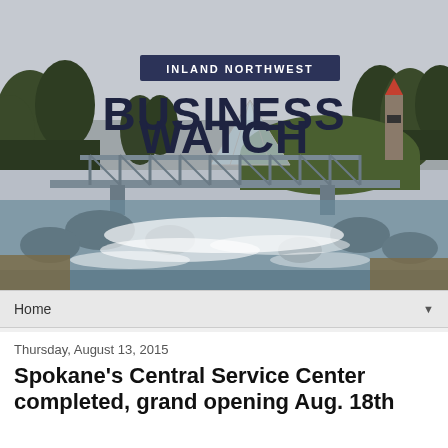[Figure (photo): Inland Northwest Business Watch banner image showing a river with rapids, a steel truss bridge, a glass pyramid structure, a clock tower, and trees in the background. Overlaid text reads 'INLAND NORTHWEST' in a dark banner and 'BUSINESS WATCH' in large bold letters.]
Home
Thursday, August 13, 2015
Spokane's Central Service Center completed, grand opening Aug. 18th